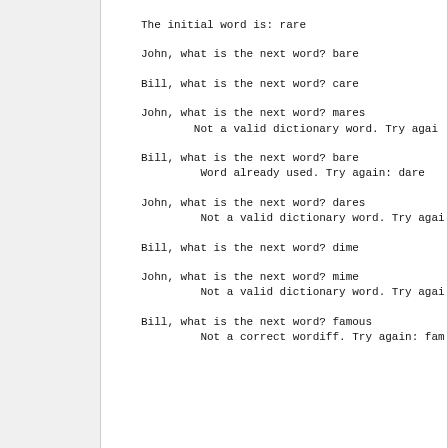The initial word is: rare
John, what is the next word? bare
Bill, what is the next word? care
John, what is the next word? mares
        Not a valid dictionary word. Try agai
Bill, what is the next word? bare
         Word already used. Try again: dare
John, what is the next word? dares
         Not a valid dictionary word. Try agai
Bill, what is the next word? dime
John, what is the next word? mime
         Not a valid dictionary word. Try agai
Bill, what is the next word? famous
         Not a correct wordiff. Try again: fam